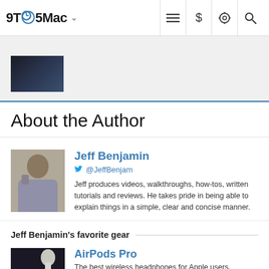9TO5Mac
[Figure (photo): Thumbnail image in article strip]
About the Author
[Figure (photo): Author photo of Jeff Benjamin]
Jeff Benjamin @JeffBenjam Jeff produces videos, walkthroughs, how-tos, written tutorials and reviews. He takes pride in being able to explain things in a simple, clear and concise manner.
Jeff Benjamin's favorite gear
[Figure (photo): AirPods Pro product image]
AirPods Pro The best wireless headphones for Apple users.